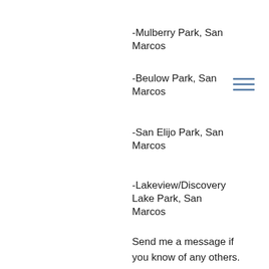-Mulberry Park, San Marcos
-Beulow Park, San Marcos
-San Elijo Park, San Marcos
-Lakeview/Discovery Lake Park, San Marcos
Send me a message if you know of any others. I'm human sometimes I make mistakes or typos....so check pricing and info before you go! ;)
---
Tags:
Splash pads
Downtown
FREE
Opt Outside